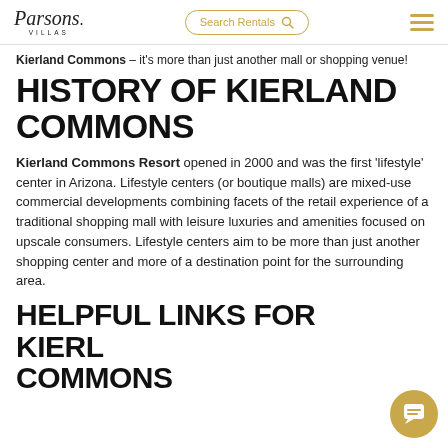Parsons Villas | Search Rentals
Kierland Commons – it's more than just another mall or shopping venue!
HISTORY OF KIERLAND COMMONS
Kierland Commons Resort opened in 2000 and was the first 'lifestyle' center in Arizona. Lifestyle centers (or boutique malls) are mixed-use commercial developments combining facets of the retail experience of a traditional shopping mall with leisure luxuries and amenities focused on upscale consumers. Lifestyle centers aim to be more than just another shopping center and more of a destination point for the surrounding area.
HELPFUL LINKS FOR KIERLAND COMMONS